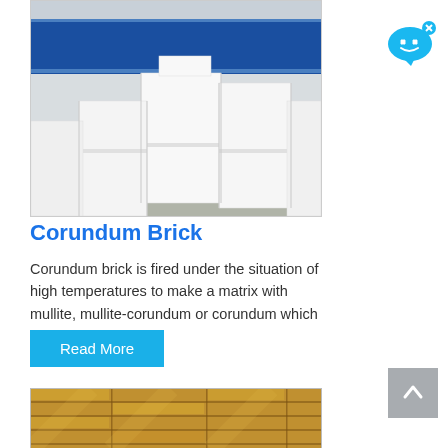[Figure (photo): White corundum bricks stacked indoors against a blue wall background]
Corundum Brick
Corundum brick is fired under the situation of high temperatures to make a matrix with mullite, mullite-corundum or corundum which ...
Read More
[Figure (photo): Yellow/tan firebricks stacked showing textured surface]